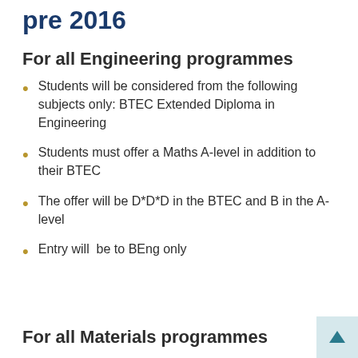pre 2016
For all Engineering programmes
Students will be considered from the following subjects only: BTEC Extended Diploma in Engineering
Students must offer a Maths A-level in addition to their BTEC
The offer will be D*D*D in the BTEC and B in the A-level
Entry will  be to BEng only
For all Materials programmes